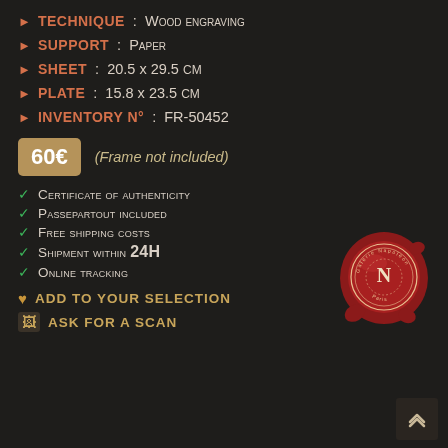TECHNIQUE : Wood engraving
SUPPORT : Paper
SHEET : 20.5 x 29.5 CM
PLATE : 15.8 x 23.5 CM
INVENTORY N° : FR-50452
60€  (Frame not included)
Certificate of authenticity
Passepartout included
Free shipping costs
Shipment within 24H
Online tracking
[Figure (logo): Red wax seal with letter N and text Galerie Napoleon Paris]
ADD TO YOUR SELECTION
ASK FOR A SCAN